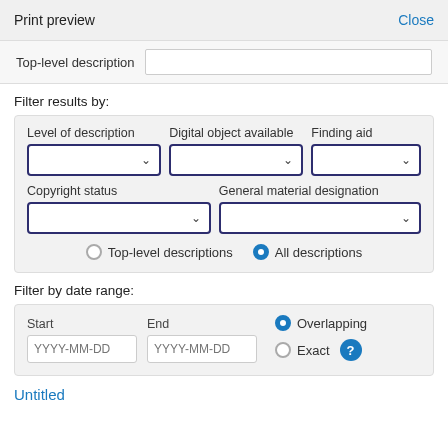Print preview   Close
Top-level description
Filter results by:
[Figure (screenshot): Filter panel with dropdowns: Level of description, Digital object available, Finding aid, Copyright status, General material designation, and radio buttons for Top-level descriptions / All descriptions]
Filter by date range:
[Figure (screenshot): Date range filter with Start and End YYYY-MM-DD inputs and Overlapping/Exact radio buttons with help icon]
Untitled